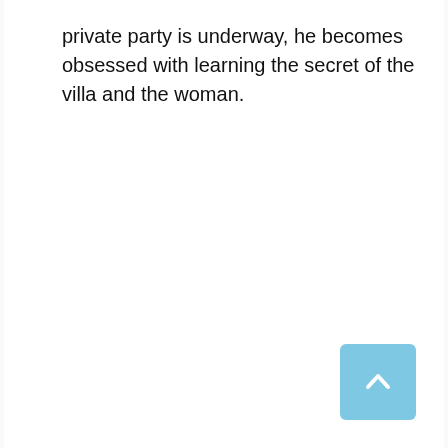private party is underway, he becomes obsessed with learning the secret of the villa and the woman.
[Figure (other): Back to top button — a light blue rounded square with a white upward-pointing chevron arrow in the center, positioned in the bottom-right corner of the page.]